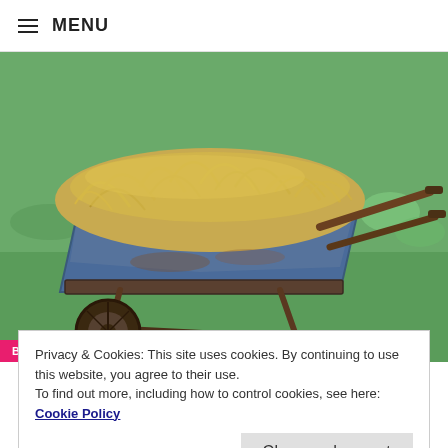≡ MENU
[Figure (photo): A blue wheelbarrow loaded with dry hay/straw sitting on green grass outdoors]
BIODEGRADATION & COMPOSTING
Open Letter from Compostable Lobby Groups and
Privacy & Cookies: This site uses cookies. By continuing to use this website, you agree to their use.
To find out more, including how to control cookies, see here: Cookie Policy
Close and accept
— by AXEL BARRETT
January 29, 2020